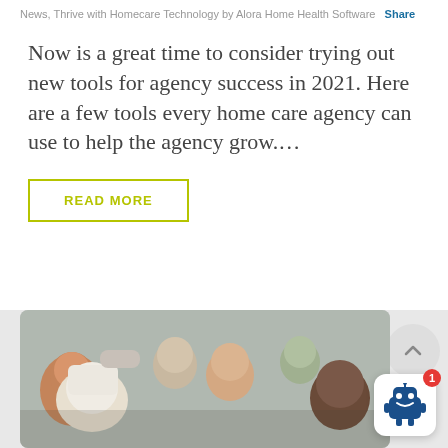News, Thrive with Homecare Technology by Alora Home Health Software  Share
Now is a great time to consider trying out new tools for agency success in 2021. Here are a few tools every home care agency can use to help the agency grow....
READ MORE
[Figure (photo): Group photo of elderly adults of diverse backgrounds smiling together, faces close together]